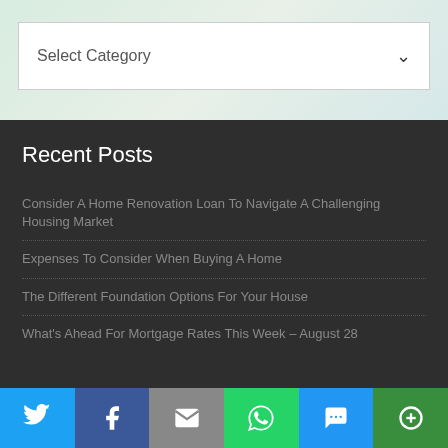[Figure (screenshot): Dropdown select box with 'Select Category' text and a chevron arrow, on a light mint/green gradient background]
Recent Posts
Consider A Home Renovation Loan To Navigate A Challenging Housing Market
Expenses To Consider When Buying A Home
The Different Foundation Options For Your House
What's Ahead For Mortgage Rates This Week – August 28
[Figure (screenshot): Social sharing bar with Twitter, Facebook, Email, WhatsApp, SMS, and More buttons]